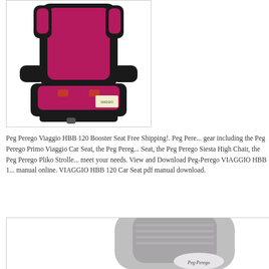[Figure (photo): Pink/magenta and black Peg Perego Viaggio HBB 120 booster car seat on white background]
Peg Perego Viaggio HBB 120 Booster Seat Free Shipping!. Peg Perego gear including the Peg Perego Primo Viaggio Car Seat, the Peg Perego Seat, the Peg Perego Siesta High Chair, the Peg Perego Pliko Stroller meet your needs. View and Download Peg-Perego VIAGGIO HBB 1 manual online. VIAGGIO HBB 120 Car Seat pdf manual download.
[Figure (photo): Gray Peg Perego booster seat bottom portion on white background, showing the Peg Perego logo]